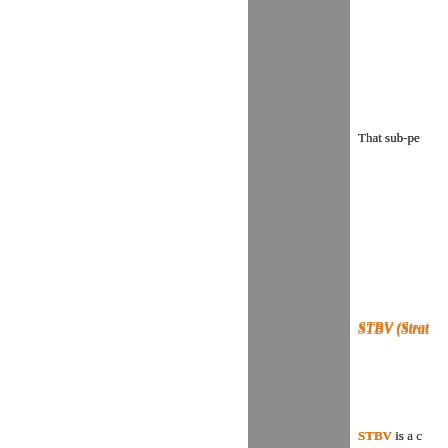That sub-pe
STBV (Strat
STBV is a c involved in world.  ……
STBV has r trading day.
But before w